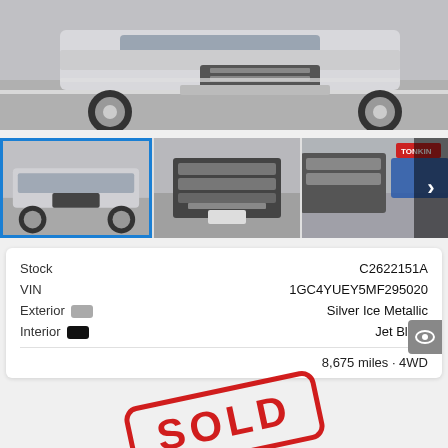[Figure (photo): Main photo of silver Chevrolet Silverado 2500HD truck from front-angled view, parked in a lot]
[Figure (photo): Thumbnail strip with three photos of silver Chevrolet truck from different angles; first thumbnail selected (blue border)]
| Stock | C2622151A |
| VIN | 1GC4YUEY5MF295020 |
| Exterior | Silver Ice Metallic |
| Interior | Jet Black |
|  | 8,675 miles · 4WD |
[Figure (other): Red SOLD rubber stamp diagonal overlay on the info card area]